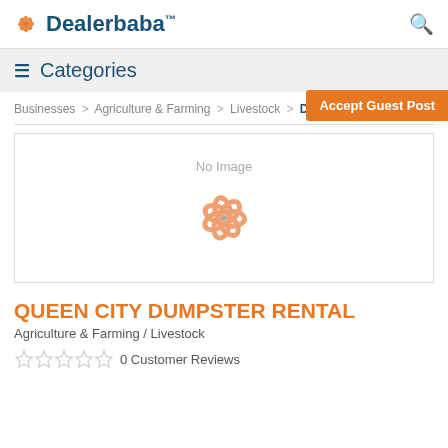Dealerbaba™
☰ Categories
Businesses > Agriculture & Farming > Livestock > Details
Accept Guest Post
[Figure (illustration): No Image placeholder with orange pinwheel/windmill logo]
QUEEN CITY DUMPSTER RENTAL
Agriculture & Farming / Livestock
0 Customer Reviews